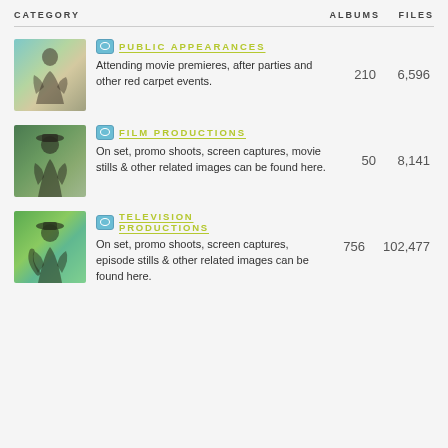| CATEGORY | ALBUMS | FILES |
| --- | --- | --- |
| PUBLIC APPEARANCES — Attending movie premieres, after parties and other red carpet events. | 210 | 6,596 |
| FILM PRODUCTIONS — On set, promo shoots, screen captures, movie stills & other related images can be found here. | 50 | 8,141 |
| TELEVISION PRODUCTIONS — On set, promo shoots, screen captures, episode stills & other related images can be found here. | 756 | 102,477 |